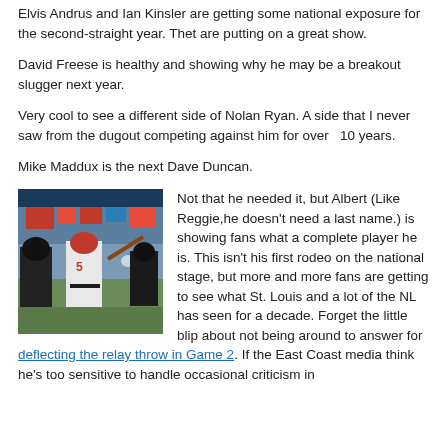Elvis Andrus and Ian Kinsler are getting some national exposure for the second-straight year. Thet are putting on a great show.
David Freese is healthy and showing why he may be a breakout slugger next year.
Very cool to see a different side of Nolan Ryan. A side that I never saw from the dugout competing against him for over  10 years.
Mike Maddux is the next Dave Duncan.
[Figure (photo): Baseball player in white Cardinals uniform swinging a bat, with catcher and umpire visible in background, crowd in stands]
Not that he needed it, but Albert (Like Reggie,he doesn't need a last name.) is showing fans what a complete player he is. This isn't his first rodeo on the national stage, but more and more fans are getting to see what St. Louis and a lot of the NL has seen for a decade. Forget the little blip about not being around to answer for deflecting the relay throw in Game 2. If the East Coast media think he's too sensitive to handle occasional criticism in